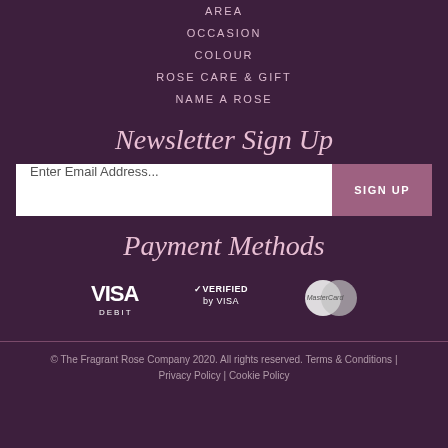AREA
OCCASION
COLOUR
ROSE CARE & GIFT
NAME A ROSE
Newsletter Sign Up
Enter Email Address... SIGN UP
Payment Methods
[Figure (logo): VISA Debit logo, Verified by VISA logo, MasterCard logo]
© The Fragrant Rose Company 2020. All rights reserved. Terms & Conditions | Privacy Policy | Cookie Policy